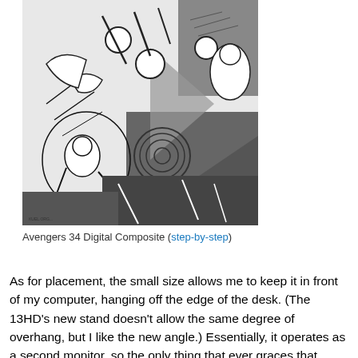[Figure (illustration): Black and white comic book art — Avengers 34 Digital Composite showing multiple superhero characters overlaid with geometric shapes]
Avengers 34 Digital Composite (step-by-step)
As for placement, the small size allows me to keep it in front of my computer, hanging off the edge of the desk. (The 13HD's new stand doesn't allow the same degree of overhang, but I like the new angle.) Essentially, it operates as a second monitor, so the only thing that ever graces that